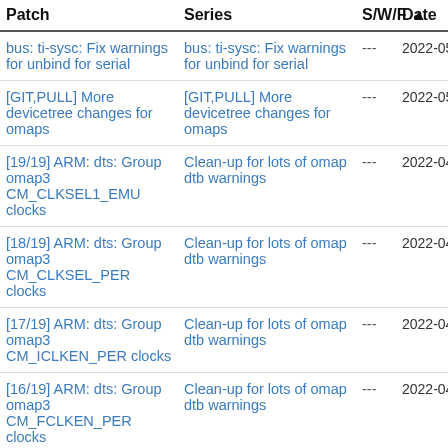| Patch | Series | S/W/F | Date |
| --- | --- | --- | --- |
| bus: ti-sysc: Fix warnings for unbind for serial | bus: ti-sysc: Fix warnings for unbind for serial | --- | 2022-05- |
| [GIT,PULL] More devicetree changes for omaps | [GIT,PULL] More devicetree changes for omaps | --- | 2022-05- |
| [19/19] ARM: dts: Group omap3 CM_CLKSEL1_EMU clocks | Clean-up for lots of omap dtb warnings | --- | 2022-04- |
| [18/19] ARM: dts: Group omap3 CM_CLKSEL_PER clocks | Clean-up for lots of omap dtb warnings | --- | 2022-04- |
| [17/19] ARM: dts: Group omap3 CM_ICLKEN_PER clocks | Clean-up for lots of omap dtb warnings | --- | 2022-04- |
| [16/19] ARM: dts: Group omap3 CM_FCLKEN_PER clocks | Clean-up for lots of omap dtb warnings | --- | 2022-04- |